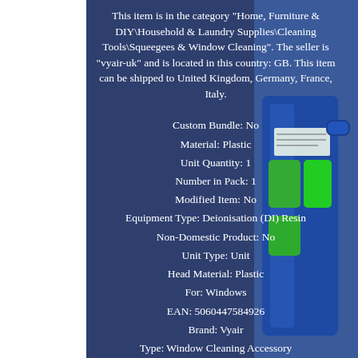This item is in the category "Home, Furniture & DIY\Household & Laundry Supplies\Cleaning Tools\Squeegees & Window Cleaning". The seller is "vyair-uk" and is located in this country: GB. This item can be shipped to United Kingdom, Germany, France, Italy.
Custom Bundle: No
Material: Plastic
Unit Quantity: 1
Number in Pack: 1
Modified Item: No
Equipment Type: Deionisation (DI) Resin
Non-Domestic Product: No
Unit Type: Unit
Head Material: Plastic
For: Windows
EAN: 5060447584926
Brand: Vyair
Type: Window Cleaning Accessory
MPN: 0835
Features: Water Fed
Colour: Blue
[Figure (photo): Photo of a blue cleaning product container with green components, partially visible on the right side of the page.]